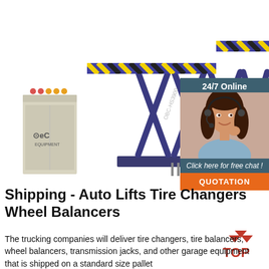[Figure (photo): Large blue scissor lift/alignment lift with yellow and black hazard stripes on the platforms, and a gray equipment cabinet with eC logo on the left side. Upper portion is a product photo on white background.]
[Figure (photo): Chat widget panel on right side: dark teal background with '24/7 Online' text, photo of smiling woman with headset, italic text 'Click here for free chat !', and orange button saying 'QUOTATION']
Shipping - Auto Lifts Tire Changers Wheel Balancers
[Figure (logo): Red/orange 'TOP' logo with arrow/chevron marks above the text, positioned bottom right near the body text]
The trucking companies will deliver tire changers, tire balancers, wheel balancers, transmission jacks, and other garage equipment that is shipped on a standard size pallet